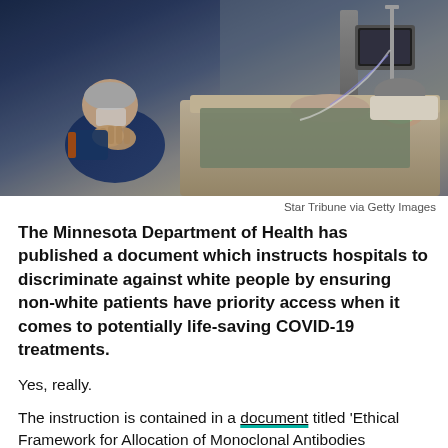[Figure (photo): A man in a blue hoodie and face mask sits hunched over with hands clasped as if praying, next to a hospital bed where a patient lies connected to medical equipment.]
Star Tribune via Getty Images
The Minnesota Department of Health has published a document which instructs hospitals to discriminate against white people by ensuring non-white patients have priority access when it comes to potentially life-saving COVID-19 treatments.
Yes, really.
The instruction is contained in a document titled ‘Ethical Framework for Allocation of Monoclonal Antibodies